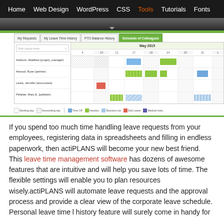Home | Web Design | WordPress | CSS | Tools | Tutorials | Fonts
[Figure (screenshot): Screenshot of actiPLANS web application showing tabs: My Requests, My Leave Time History, PTO Balance History, Schedule of Colleagues (active). Shows a calendar for May 2015 with leave schedules for Ashburn Matthew (project_manager), Atwood Ryan (partner), Lewis Jennifer (accountant), Pelletier Mary E. (pelletier). Legend shows Working day, Nonworking day, Time Off, Vacation, Business trip, Sick Leave, Medical treat...]
If you spend too much time handling leave requests from your employees, registering data in spreadsheets and filling in endless paperwork, then actiPLANS will become your new best friend. This leave time management software has dozens of awesome features that are intuitive and will help you save lots of time. The flexible settings will enable you to plan resources wisely.actiPLANS will automate leave requests and the approval process and provide a clear view of the corporate leave schedule. Personal leave time l history feature will surely come in handy for